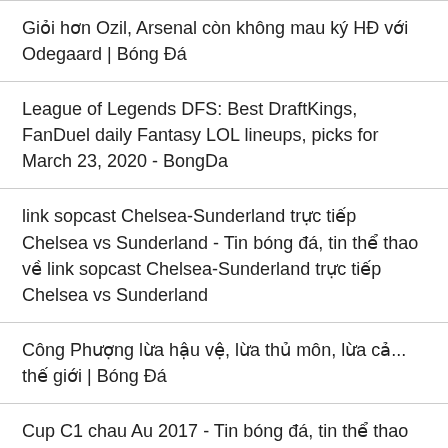Giỏi hơn Ozil, Arsenal còn không mau ký HĐ với Odegaard | Bóng Đá
League of Legends DFS: Best DraftKings, FanDuel daily Fantasy LOL lineups, picks for March 23, 2020 - BongDa
link sopcast Chelsea-Sunderland trực tiếp Chelsea vs Sunderland - Tin bóng đá, tin thể thao về link sopcast Chelsea-Sunderland trực tiếp Chelsea vs Sunderland
Công Phượng lừa hậu vệ, lừa thủ môn, lừa cả... thế giới | Bóng Đá
Cup C1 chau Au 2017 - Tin bóng đá, tin thể thao về Cup C1 chau Au 2017
U23 Việt Nam vs U23 Triều Tiên: Thoát khỏi 'cửa tử' |U23 Châu Á 2020
…